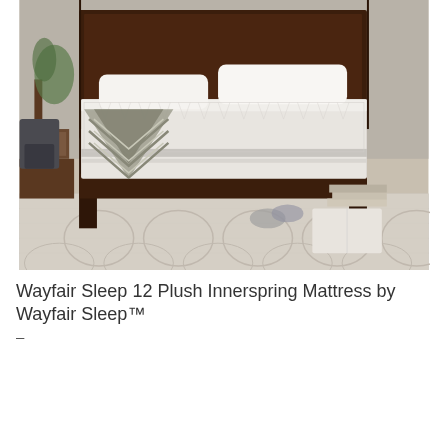[Figure (photo): Product photo of a mattress on a dark brown bed frame in a bedroom setting, with a patterned area rug, decorative throw blanket, pillows, and bedroom accessories visible.]
Wayfair Sleep 12 Plush Innerspring Mattress by Wayfair Sleep™
–